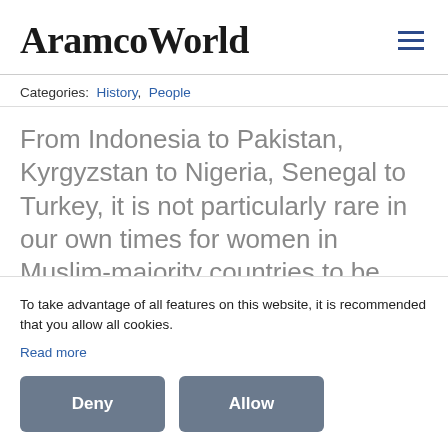AramcoWorld
Categories:  History,  People
From Indonesia to Pakistan, Kyrgyzstan to Nigeria, Senegal to Turkey, it is not particularly rare in our own times for women in Muslim-majority countries to be appointed and elected to high offices—
To take advantage of all features on this website, it is recommended that you allow all cookies.
Read more
Deny   Allow